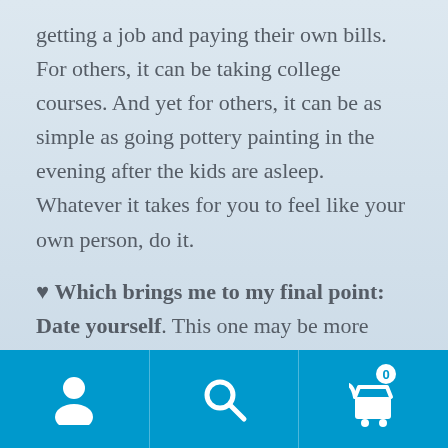getting a job and paying their own bills. For others, it can be taking college courses. And yet for others, it can be as simple as going pottery painting in the evening after the kids are asleep. Whatever it takes for you to feel like your own person, do it.
♥ Which brings me to my final point: Date yourself. This one may be more difficult for the extroverts out there, but it may prove to be even more beneficial. It entails doing exactly what it sounds like. Take the time out to be alone and do what you enjoy doing. Allow yourself the quiet
[Figure (other): Bottom navigation bar with three icons: user/profile icon on left, search/magnifying glass icon in center, and shopping cart icon with badge showing '0' on right. Bar is solid blue (#0099cc).]